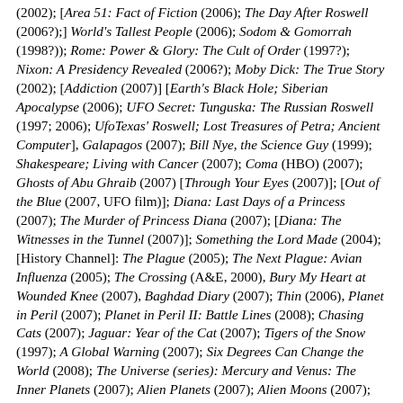(2002); [Area 51: Fact of Fiction (2006); The Day After Roswell (2006?);] World's Tallest People (2006); Sodom & Gomorrah (1998?)); Rome: Power & Glory: The Cult of Order (1997?); Nixon: A Presidency Revealed (2006?); Moby Dick: The True Story (2002); [Addiction (2007)] [Earth's Black Hole; Siberian Apocalypse (2006); UFO Secret: Tunguska: The Russian Roswell (1997; 2006); UfoTexas' Roswell; Lost Treasures of Petra; Ancient Computer], Galapagos (2007); Bill Nye, the Science Guy (1999); Shakespeare; Living with Cancer (2007); Coma (HBO) (2007); Ghosts of Abu Ghraib (2007) [Through Your Eyes (2007)]; [Out of the Blue (2007, UFO film)]; Diana: Last Days of a Princess (2007); The Murder of Princess Diana (2007); [Diana: The Witnesses in the Tunnel (2007)]; Something the Lord Made (2004); [History Channel]: The Plague (2005); The Next Plague: Avian Influenza (2005); The Crossing (A&E, 2000), Bury My Heart at Wounded Knee (2007), Baghdad Diary (2007); Thin (2006), Planet in Peril (2007); Planet in Peril II: Battle Lines (2008); Chasing Cats (2007); Jaguar: Year of the Cat (2007); Tigers of the Snow (1997); A Global Warning (2007); Six Degrees Can Change the World (2008); The Universe (series): Mercury and Venus: The Inner Planets (2007); Alien Planets (2007); Alien Moons (2007); Cosmic Holes (2007); Dark Matter and Dark Energy (2007); The End of the Earth: Deep Space Threats to Our Planet (2008); Astrobiology (2007);  Space Travel (2007); Supernovas (2007); Cosmic Collisions (2008); Colonizing Space (2008); Gravity (2005); Space Junk (2005); Alien Speed (2005); Mod...